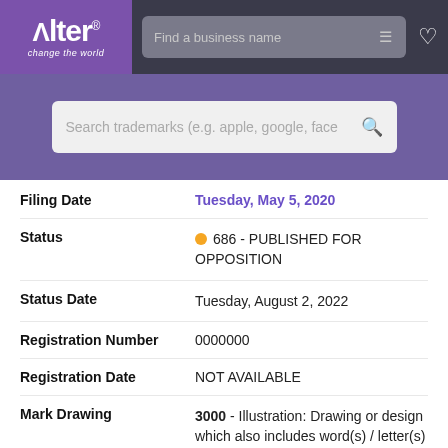[Figure (logo): Alter brand logo with 'change the world' tagline on purple background, next to search bar in dark nav header]
[Figure (screenshot): Purple hero banner with trademark search input box]
Filing Date: Tuesday, May 5, 2020
Status: 686 - PUBLISHED FOR OPPOSITION
Status Date: Tuesday, August 2, 2022
Registration Number: 0000000
Registration Date: NOT AVAILABLE
Mark Drawing: 3000 - Illustration: Drawing or design which also includes word(s) / letter(s) /